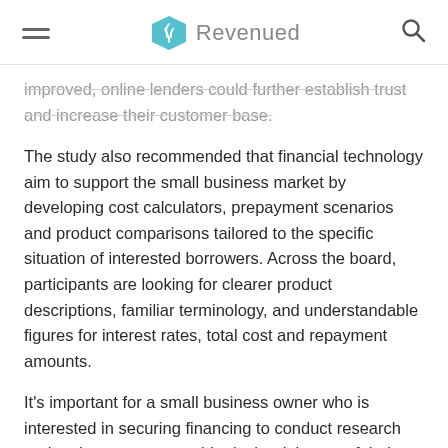Revenued
improved, online lenders could further establish trust and increase their customer base.
The study also recommended that financial technology aim to support the small business market by developing cost calculators, prepayment scenarios and product comparisons tailored to the specific situation of interested borrowers. Across the board, participants are looking for clearer product descriptions, familiar terminology, and understandable figures for interest rates, total cost and repayment amounts.
It's important for a small business owner who is interested in securing financing to conduct research and make sure any provider is the right one of their business. The online lending industry will gain